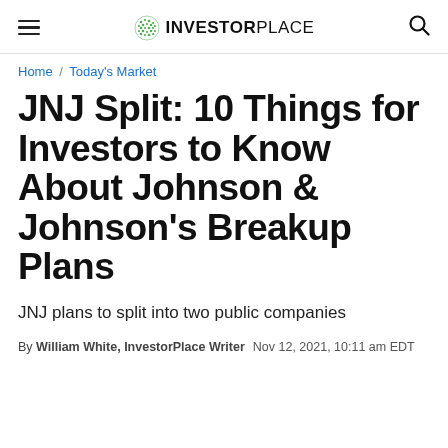INVESTORPLACE
Home / Today's Market
JNJ Split: 10 Things for Investors to Know About Johnson & Johnson's Breakup Plans
JNJ plans to split into two public companies
By William White, InvestorPlace Writer  Nov 12, 2021, 10:11 am EDT